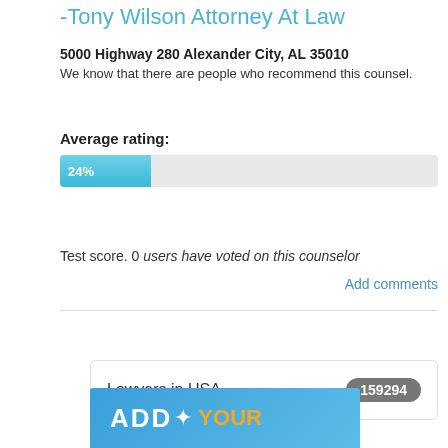-Tony Wilson Attorney At Law
5000 Highway 280 Alexander City, AL 35010
We know that there are people who recommend this counsel.
Average rating:
[Figure (bar-chart): Average rating]
Test score. 0 users have voted on this counselor
Add comments
Lawyers in USA   159294
[Figure (infographic): Blue banner with ADD text and cursor icon, orange YOUR text partially visible]